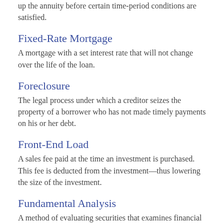up the annuity before certain time-period conditions are satisfied.
Fixed-Rate Mortgage
A mortgage with a set interest rate that will not change over the life of the loan.
Foreclosure
The legal process under which a creditor seizes the property of a borrower who has not made timely payments on his or her debt.
Front-End Load
A sales fee paid at the time an investment is purchased. This fee is deducted from the investment—thus lowering the size of the investment.
Fundamental Analysis
A method of evaluating securities that examines financial and economic factors—such as the current finances of a